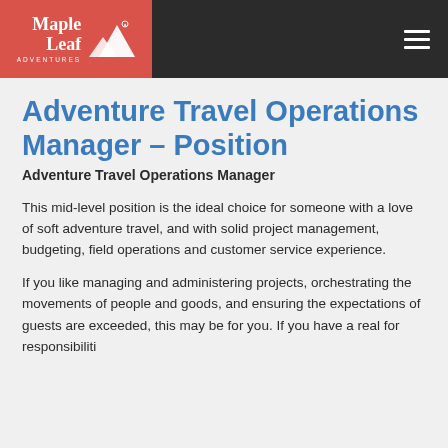Maple Leaf Adventures
Adventure Travel Operations Manager – Position
Adventure Travel Operations Manager
This mid-level position is the ideal choice for someone with a love of soft adventure travel, and with solid project management, budgeting, field operations and customer service experience.
If you like managing and administering projects, orchestrating the movements of people and goods, and ensuring the expectations of guests are exceeded, this may be for you. If you have a real for responsibiliti…